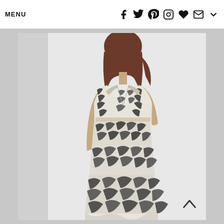MENU  [social icons: facebook, twitter, pinterest, instagram, heart, mail, dropdown]
[Figure (photo): A woman wearing a black and cream/white abstract leaf or feather print tiered maxi dress with V-neckline, sleeveless, standing against a white background.]